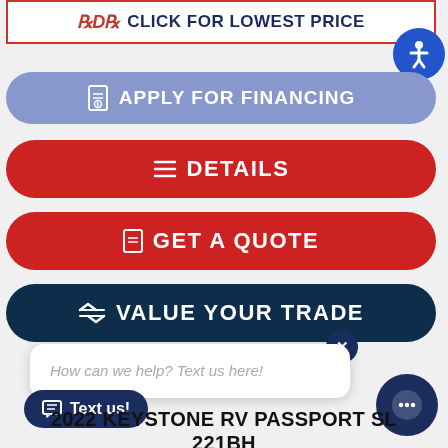[Figure (screenshot): Click For Lowest Price banner with red border]
[Figure (screenshot): Accessibility icon button (blue circle with person icon)]
[Figure (screenshot): Apply For Financing button (blue/purple pill)]
[Figure (screenshot): Details button (red pill)]
[Figure (screenshot): Get A Quote button (red pill)]
[Figure (screenshot): Value Your Trade button (dark navy pill)]
How can we help? Text us here!
[Figure (screenshot): Text us! button (dark navy pill with chat icon)]
[Figure (screenshot): Chat bubble circle icon (dark navy)]
2022 KEYSTONE RV PASSPORT SL 221BH